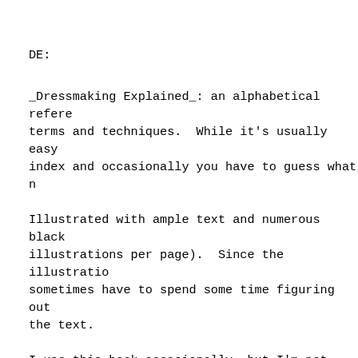DE:
_Dressmaking Explained_: an alphabetical reference terms and techniques.  While it's usually easy index and occasionally you have to guess what n
Illustrated with ample text and numerous black illustrations per page).  Since the illustratio sometimes have to spend some time figuring out the text.
I use this book occasionally, but I'm not very a vast amount of information and covers many ma alphabetical organization is sometimes handy an have found that some of the explanations are co understand.  Furthermore the illustrations are have a chance to pick this book up cheaply, do as a single reference book nor as a first refer